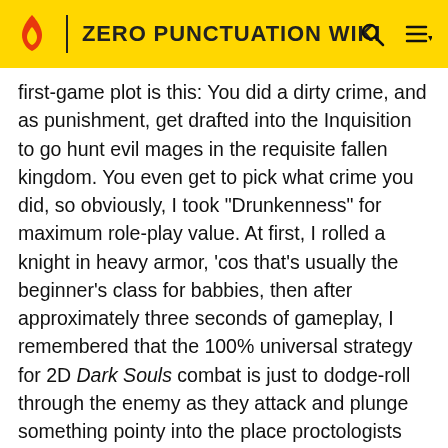ZERO PUNCTUATION WIKI
first-game plot is this: You did a dirty crime, and as punishment, get drafted into the Inquisition to go hunt evil mages in the requisite fallen kingdom. You even get to pick what crime you did, so obviously, I took "Drunkenness" for maximum role-play value. At first, I rolled a knight in heavy armor, 'cos that's usually the beginner's class for babbies, then after approximately three seconds of gameplay, I remembered that the 100% universal strategy for 2D Dark Souls combat is just to dodge-roll through the enemy as they attack and plunge something pointy into the place proctologists professionally prefer to probe. So I ditched that character and rerolled as a light-armored duelist-style fighter, with more dodgy rolls in them than an unsanitary sushi restaurant.